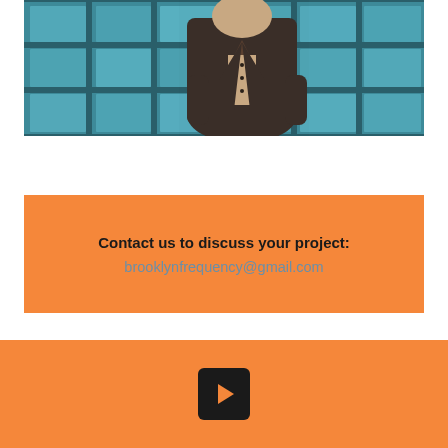[Figure (photo): Man in dark brown jacket standing against a teal/blue tiled wall, hands in pockets, upper body cropped]
Contact us to discuss your project:
brooklynfrequency@gmail.com
[Figure (logo): YouTube play button icon — dark square with orange triangle play symbol, on orange footer bar]